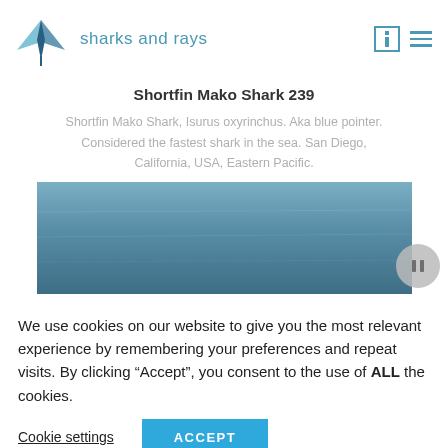sharks and rays
Shortfin Mako Shark 239
Shortfin Mako Shark, Isurus oxyrinchus. Aka blue pointer. Considered the fastest shark in the sea. San Diego, California, USA, Eastern Pacific.
[Figure (photo): Underwater ocean photo with blue-grey water tones, partially visible shark image.]
We use cookies on our website to give you the most relevant experience by remembering your preferences and repeat visits. By clicking “Accept”, you consent to the use of ALL the cookies.
Cookie settings  ACCEPT